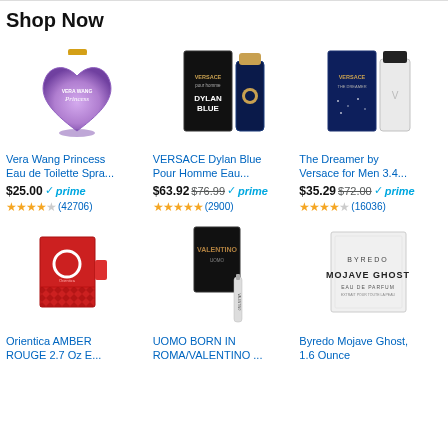Shop Now
[Figure (photo): Vera Wang Princess heart-shaped lavender perfume bottle]
Vera Wang Princess Eau de Toilette Spra...
$25.00 prime ★★★★½ (42706)
[Figure (photo): Versace Dylan Blue Pour Homme black box and dark blue bottle]
VERSACE Dylan Blue Pour Homme Eau...
$63.92 $76.99 prime ★★★★★ (2900)
[Figure (photo): The Dreamer by Versace dark blue starry box and clear bottle]
The Dreamer by Versace for Men 3.4...
$35.29 $72.00 prime ★★★★½ (16036)
[Figure (photo): Orientica AMBER ROUGE red box perfume]
Orientica AMBER ROUGE 2.7 Oz E...
[Figure (photo): Valentino UOMO BORN IN ROMA black box with sample vial]
UOMO BORN IN ROMA/VALENTINO ...
[Figure (photo): Byredo Mojave Ghost white box Eau de Parfum]
Byredo Mojave Ghost, 1.6 Ounce